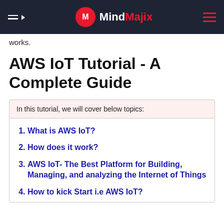MindMajix
works.
AWS IoT Tutorial - A Complete Guide
| In this tutorial, we will cover below topics: |
| --- |
| What is AWS IoT? |
| How does it work? |
| AWS IoT- The Best Platform for Building, Managing, and analyzing the Internet of Things |
| How to kick Start i.e AWS IoT? |